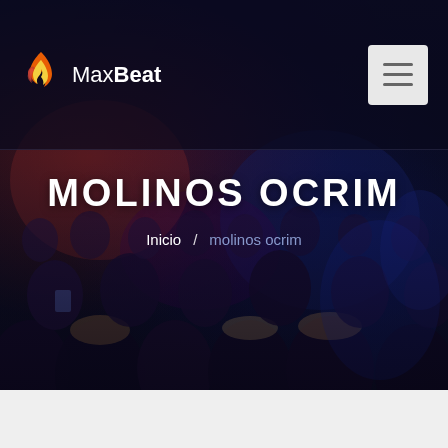[Figure (screenshot): MaxBeat website header with logo on dark background showing crowd at an event. Navigation bar with MaxBeat logo (flame icon) on left and hamburger menu button on right.]
MOLINOS OCRIM
Inicio / molinos ocrim